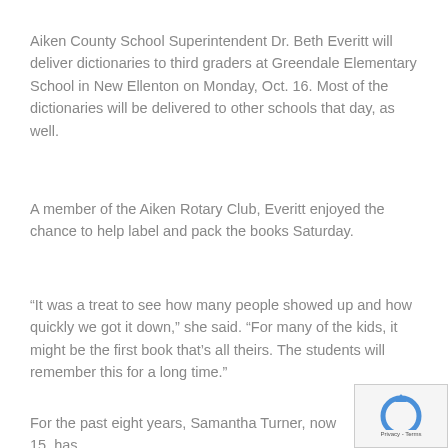Aiken County School Superintendent Dr. Beth Everitt will deliver dictionaries to third graders at Greendale Elementary School in New Ellenton on Monday, Oct. 16. Most of the dictionaries will be delivered to other schools that day, as well.
A member of the Aiken Rotary Club, Everitt enjoyed the chance to help label and pack the books Saturday.
“It was a treat to see how many people showed up and how quickly we got it down,” she said. “For many of the kids, it might be the first book that’s all theirs. The students will remember this for a long time.”
For the past eight years, Samantha Turner, now 15, has